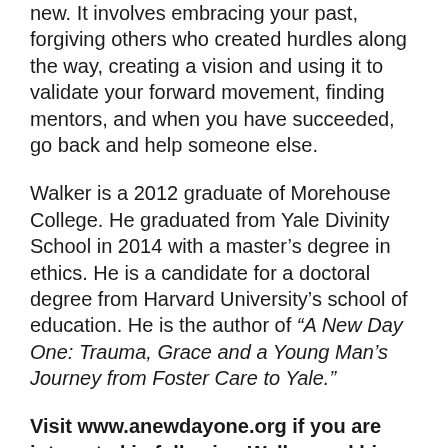new. It involves embracing your past, forgiving others who created hurdles along the way, creating a vision and using it to validate your forward movement, finding mentors, and when you have succeeded, go back and help someone else.
Walker is a 2012 graduate of Morehouse College. He graduated from Yale Divinity School in 2014 with a master's degree in ethics. He is a candidate for a doctoral degree from Harvard University's school of education. He is the author of “A New Day One: Trauma, Grace and a Young Man’s Journey from Foster Care to Yale.”
Visit www.anewdayone.org if you are interested in following Walker and his journey as an entrepreneur.